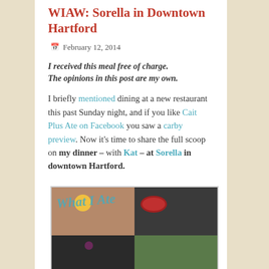WIAW: Sorella in Downtown Hartford
February 12, 2014
I received this meal free of charge. The opinions in this post are my own.
I briefly mentioned dining at a new restaurant this past Sunday night, and if you like Cait Plus Ate on Facebook you saw a carby preview. Now it's time to share the full scoop on my dinner – with Kat – at Sorella in downtown Hartford.
[Figure (photo): Photo collage of food items with 'What I Ate' watermark text in teal cursive, showing four quadrants of food photos including fruit, kiwi in a red bowl, dark food items, and a salad.]